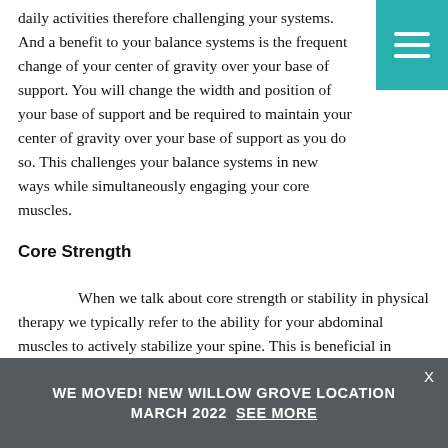daily activities therefore challenging your systems.  And a benefit to your balance systems is the frequent change of your center of gravity over your base of support.  You will change the width and position of your base of support and be required to maintain your center of gravity over your base of support as you do so.  This challenges your balance systems in new ways while simultaneously engaging your core muscles.
Core Strength
When we talk about core strength or stability in physical therapy we typically refer to the ability for your abdominal muscles to actively stabilize your spine.  This is beneficial in providing proximal stability to allow distal mobility, meaning, we want to have a stable base from which we can perform tasks with our arms/legs.  Yoga is well known for addressing and improving core stability.  Exercises
WE MOVED! NEW WILLOW GROVE LOCATION MARCH 2022  See More  X